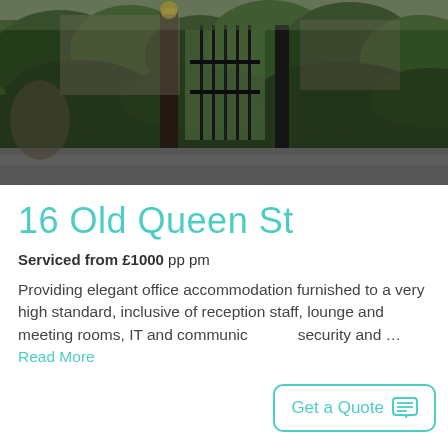[Figure (photo): Photograph of a black iron gate set in a tall green hedge, with a golden pillar lamp post in the foreground and a stone building visible behind the gate.]
16 Old Queen St
Serviced from £1000 pp pm
Providing elegant office accommodation furnished to a very high standard, inclusive of reception staff, lounge and meeting rooms, IT and communic... security and … Read More
Get a Quote